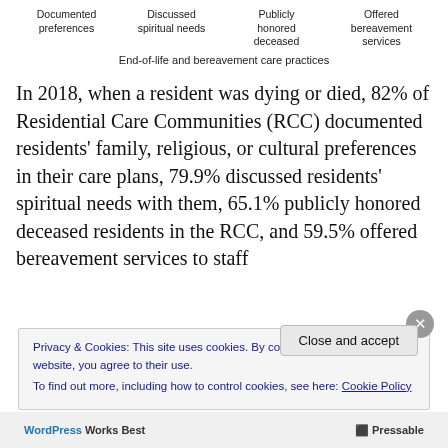Documented preferences | Discussed spiritual needs | Publicly honored deceased | Offered bereavement services
End-of-life and bereavement care practices
In 2018, when a resident was dying or died, 82% of Residential Care Communities (RCC) documented residents' family, religious, or cultural preferences in their care plans, 79.9% discussed residents' spiritual needs with them, 65.1% publicly honored deceased residents in the RCC, and 59.5% offered bereavement services to staff
Privacy & Cookies: This site uses cookies. By continuing to use this website, you agree to their use.
To find out more, including how to control cookies, see here: Cookie Policy
WordPress Works Best | Pressable